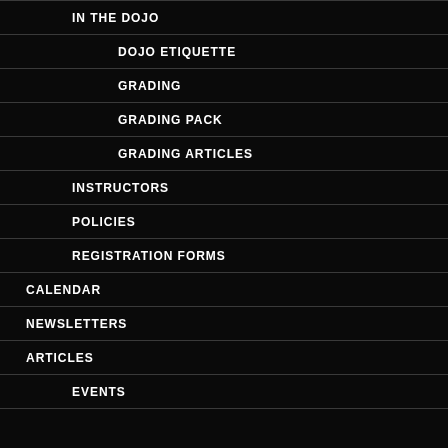IN THE DOJO
DOJO ETIQUETTE
GRADING
GRADING PACK
GRADING ARTICLES
INSTRUCTORS
POLICIES
REGISTRATION FORMS
CALENDAR
NEWSLETTERS
ARTICLES
EVENTS